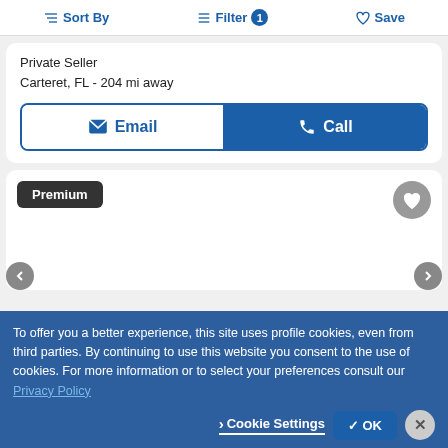Sort By   Filter 1   Save
Private Seller
Carteret, FL - 204 mi away
Email   Call
Premium
To offer you a better experience, this site uses profile cookies, even from third parties. By continuing to use this website you consent to the use of cookies. For more information or to select your preferences consult our Privacy Policy
Cookie Settings   OK